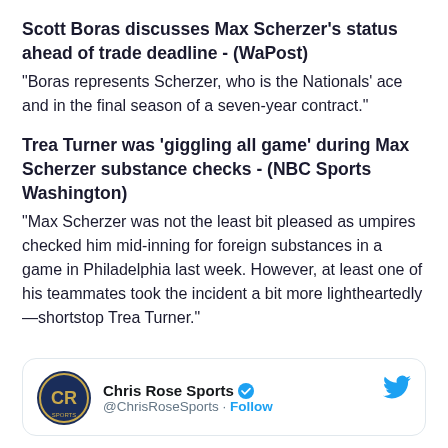Scott Boras discusses Max Scherzer's status ahead of trade deadline - (WaPost)
"Boras represents Scherzer, who is the Nationals' ace and in the final season of a seven-year contract."
Trea Turner was ‘giggling all game’ during Max Scherzer substance checks - (NBC Sports Washington)
"Max Scherzer was not the least bit pleased as umpires checked him mid-inning for foreign substances in a game in Philadelphia last week. However, at least one of his teammates took the incident a bit more lightheartedly—shortstop Trea Turner."
Chris Rose Sports @ChrisRoseSports · Follow